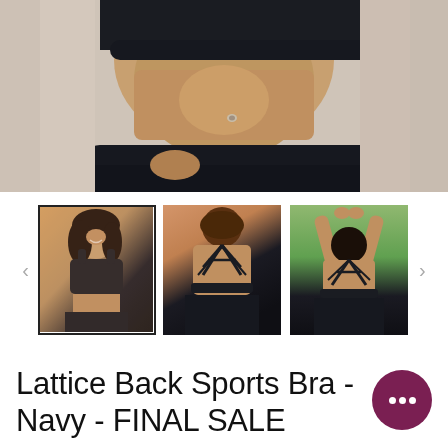[Figure (photo): Close-up photo of a woman's torso wearing a dark navy/black sports bra and matching high-waisted dark pants. The midriff is exposed showing a belly button piercing. Sandy/beach background.]
[Figure (photo): Three product thumbnail images of sports bra: (1) front view of smiling woman with dark curly hair wearing black sports bra; (2) back view showing lattice/cross-strap pattern of the bra; (3) back view with arms raised overhead showing lattice strap pattern.]
Lattice Back Sports Bra - Navy - FINAL SALE